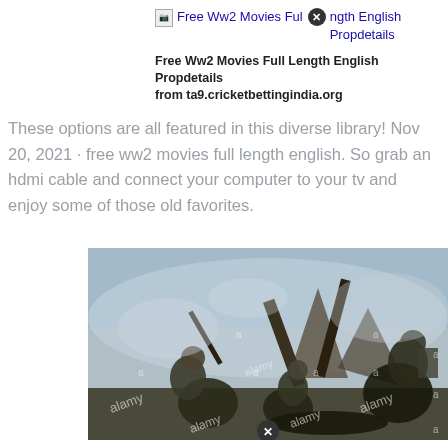Free Ww2 Movies Full Length English Propdetails
Free Ww2 Movies Full Length English Propdetails from ta9.cricketbettingindia.org
These options are all featured in this diverse library! Nov 20, 2021 · free ww2 movies full length english. So grab an hdmi cable and connect your computer to your tv and enjoy some of those old favorites.
[Figure (photo): Watermarked stock photo from Alamy showing soldiers in WWII combat scene, with multiple 'alamy' watermarks across the image. Soldiers in dark military uniforms are crouching and fighting amid debris and smoke.]